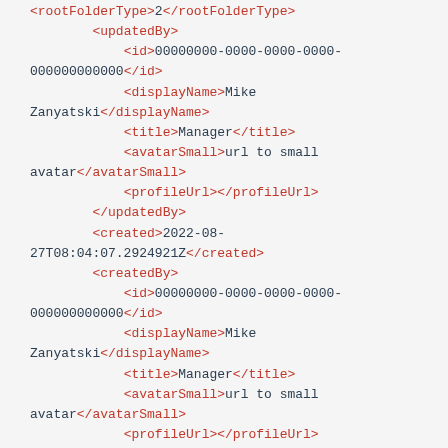XML code snippet showing rootFolderType, updatedBy, created, createdBy, updated, folders elements with values including id 00000000-0000-0000-0000-000000000000, displayName Mike Zanyatski, title Manager, avatarSmall url to small avatar, profileUrl, and dates 2022-08-27T08:04:07.2924921Z